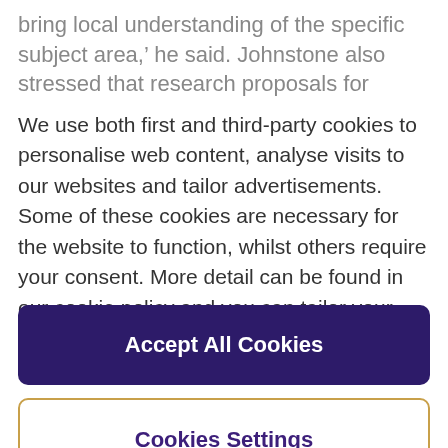bring local understanding of the specific subject area,' he said. Johnstone also stressed that research proposals for
We use both first and third-party cookies to personalise web content, analyse visits to our websites and tailor advertisements. Some of these cookies are necessary for the website to function, whilst others require your consent. More detail can be found in our cookie policy and you can tailor your choices in the preference centre.
Accept All Cookies
Cookies Settings